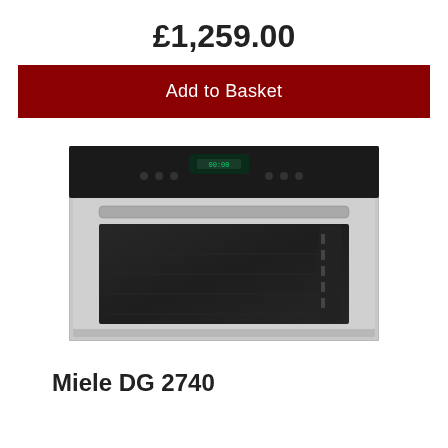£1,259.00
Add to Basket
[Figure (photo): Miele DG 2740 built-in steam oven, stainless steel with black glass top panel, digital display, and horizontal handle]
Miele DG 2740